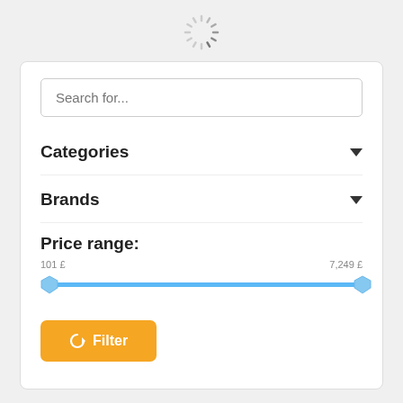[Figure (other): Loading spinner icon at top center of page]
Search for...
Categories
Brands
Price range:
101 £    7,249 £
[Figure (other): Horizontal range slider with blue track, left handle at 101 £ and right handle at 7,249 £]
↻ Filter